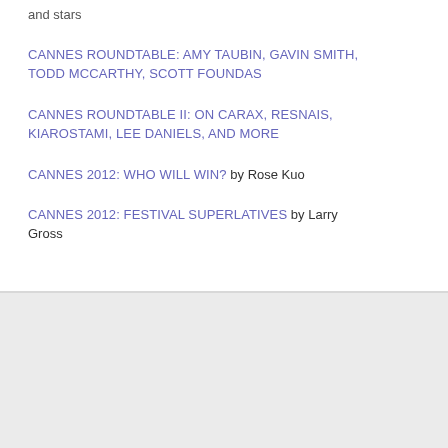and stars
CANNES ROUNDTABLE: AMY TAUBIN, GAVIN SMITH, TODD MCCARTHY, SCOTT FOUNDAS
CANNES ROUNDTABLE II: ON CARAX, RESNAIS, KIAROSTAMI, LEE DANIELS, AND MORE
CANNES 2012: WHO WILL WIN? by Rose Kuo
CANNES 2012: FESTIVAL SUPERLATIVES by Larry Gross